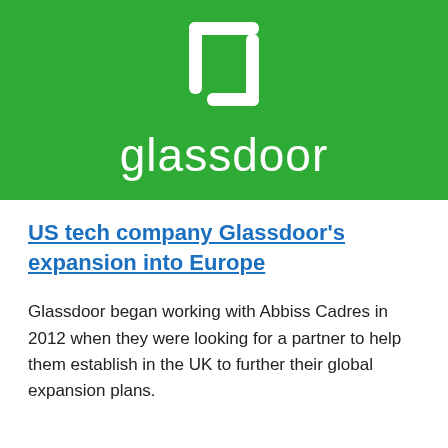[Figure (logo): Glassdoor logo on green background — white bracket/door icon above white 'glassdoor' wordmark]
US tech company Glassdoor's expansion into Europe
Glassdoor began working with Abbiss Cadres in 2012 when they were looking for a partner to help them establish in the UK to further their global expansion plans.